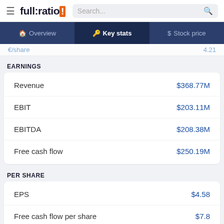full:ratio | Search...
Overview | Key stats | Stock price
€/share  4.21
EARNINGS
|  |  |
| --- | --- |
| Revenue | $368.77M |
| EBIT | $203.11M |
| EBITDA | $208.38M |
| Free cash flow | $250.19M |
PER SHARE
|  |  |
| --- | --- |
| EPS | $4.58 |
| Free cash flow per share | $7.8 |
| Book value per share | $39.05 |